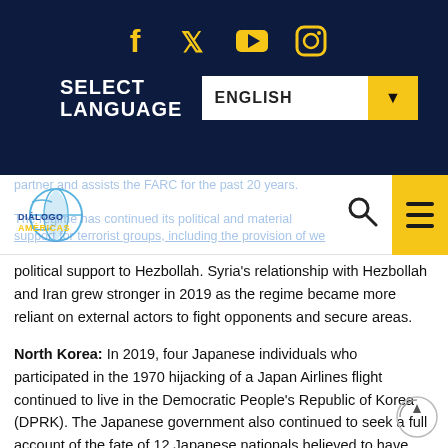[Figure (screenshot): Website header with dark navy background showing social media icons (Facebook, Twitter, YouTube, Instagram) in gold, a SELECT LANGUAGE label in white, and an ENGLISH dropdown selector with gold arrow button]
[Figure (logo): Diálogo Américas logo with globe graphic and yellow text]
partner and assists the FARC for the past 20 years. The regime has continued its political and material support for terrorist groups, including the provision of weapons and political support to Hezbollah. Syria's relationship with Hezbollah and Iran grew stronger in 2019 as the regime became more reliant on external actors to fight opponents and secure areas.
North Korea: In 2019, four Japanese individuals who participated in the 1970 hijacking of a Japan Airlines flight continued to live in the Democratic People's Republic of Korea (DPRK). The Japanese government also continued to seek a full account of the fate of 12 Japanese nationals believed to have been abducted by DPRK state entities in the 1970s and 1980s.